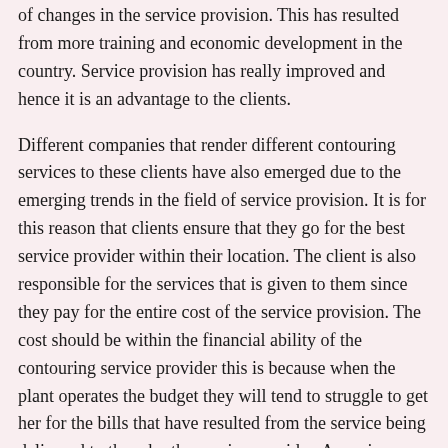of changes in the service provision. This has resulted from more training and economic development in the country. Service provision has really improved and hence it is an advantage to the clients.
Different companies that render different contouring services to these clients have also emerged due to the emerging trends in the field of service provision. It is for this reason that clients ensure that they go for the best service provider within their location. The client is also responsible for the services that is given to them since they pay for the entire cost of the service provision. The cost should be within the financial ability of the contouring service provider this is because when the plant operates the budget they will tend to struggle to get her for the bills that have resulted from the service being delivered to them by the service provider. A service provider should also provide a cost that is friendly and reliable to the client's.